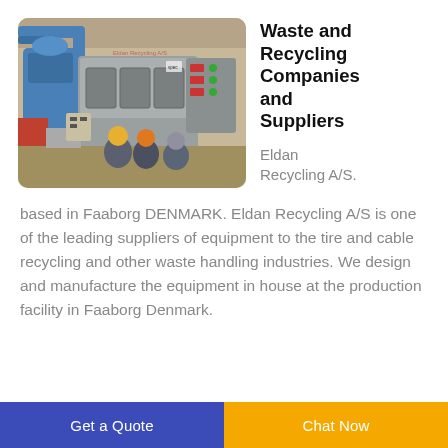[Figure (photo): Industrial recycling facility interior showing large grey machinery with control panels, blue pipes, and three workers in hard hats sitting/standing in front of equipment.]
Waste and Recycling Companies and Suppliers
Eldan Recycling A/S.
based in Faaborg DENMARK. Eldan Recycling A/S is one of the leading suppliers of equipment to the tire and cable recycling and other waste handling industries. We design and manufacture the equipment in house at the production facility in Faaborg Denmark.
Get a Quote | Chat Now